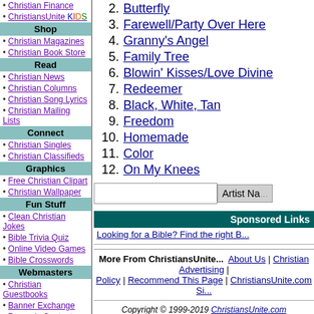• Christian Finance
• ChristiansUnite KIDS
Shop
• Christian Magazines
• Christian Book Store
Read
• Christian News
• Christian Columns
• Christian Song Lyrics
• Christian Mailing Lists
Connect
• Christian Singles
• Christian Classifieds
Graphics
• Free Christian Clipart
• Christian Wallpaper
Fun Stuff
• Clean Christian Jokes
• Bible Trivia Quiz
• Online Video Games
• Bible Crosswords
Webmasters
• Christian Guestbooks
• Banner Exchange
• Dynamic Content
Recommended Links
Looking for a Bible?
Subscribe to our Free Newsletter. Enter your email address:
2. Butterfly
3. Farewell/Party Over Here
4. Granny's Angel
5. Family Tree
6. Blowin' Kisses/Love Divine
7. Redeemer
8. Black, White, Tan
9. Freedom
10. Homemade
11. Color
12. On My Knees
Sponsored Links
Looking for a Bible? Find the right B...
More From ChristiansUnite... About Us | Christian Advertising | Policy | Recommend This Page | ChristiansUnite.com Si...
Copyright © 1999-2019 ChristiansUnite.com Please send your questions, comments, or bug re...